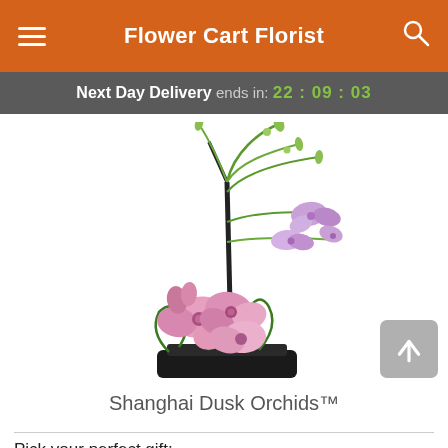Flower Cart Florist
Next Day Delivery ends in: 22 : 09 : 03
[Figure (photo): Shanghai Dusk Orchids floral arrangement with pink/purple cymbidium orchids and tall green branches in a low black rectangular container, displayed on white background]
Shanghai Dusk Orchids™
Pick your perfect gift: